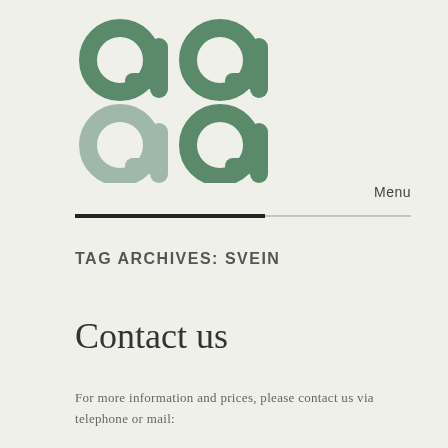[Figure (logo): GG logo in muted green tones — two stylized letter 'g' forms arranged in a 2x2 grid, top pair darker green, bottom pair lighter/more transparent green]
Menu
TAG ARCHIVES: SVEIN
Contact us
For more information and prices, please contact us via telephone or mail: